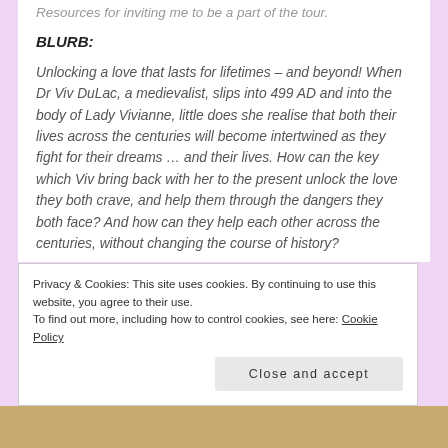Resources for inviting me to be a part of the tour.
BLURB:
Unlocking a love that lasts for lifetimes – and beyond! When Dr Viv DuLac, a medievalist, slips into 499 AD and into the body of Lady Vivianne, little does she realise that both their lives across the centuries will become intertwined as they fight for their dreams … and their lives. How can the key which Viv bring back with her to the present unlock the love they both crave, and help them through the dangers they both face? And how can they help each other across the centuries, without changing the course of history?
Privacy & Cookies: This site uses cookies. By continuing to use this website, you agree to their use. To find out more, including how to control cookies, see here: Cookie Policy
Close and accept